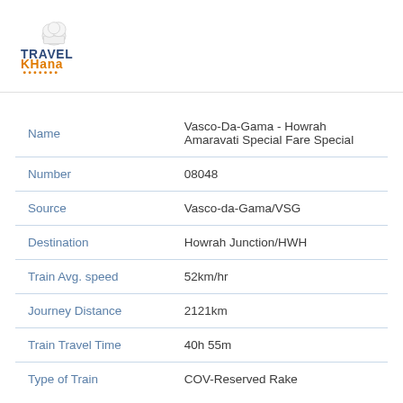[Figure (logo): TravelKhana logo with chef hat icon, TRAVEL in dark blue, KHANA in orange, dots below text]
| Name | Vasco-Da-Gama - Howrah Amaravati Special Fare Special |
| Number | 08048 |
| Source | Vasco-da-Gama/VSG |
| Destination | Howrah Junction/HWH |
| Train Avg. speed | 52km/hr |
| Journey Distance | 2121km |
| Train Travel Time | 40h 55m |
| Type of Train | COV-Reserved Rake |